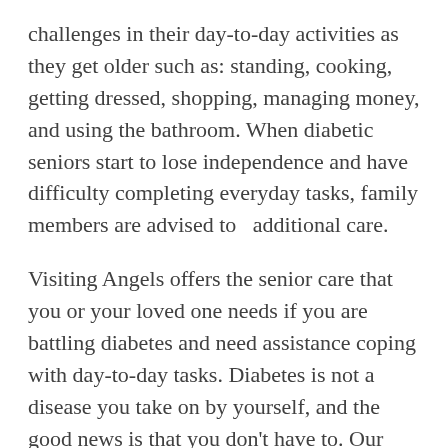challenges in their day-to-day activities as they get older such as: standing, cooking, getting dressed, shopping, managing money, and using the bathroom. When diabetic seniors start to lose independence and have difficulty completing everyday tasks, family members are advised to  additional care.
Visiting Angels offers the senior care that you or your loved one needs if you are battling diabetes and need assistance coping with day-to-day tasks. Diabetes is not a disease you take on by yourself, and the good news is that you don't have to. Our professional, caring Angels come will help you remain independent in your home so that you are able to age gracefully while living a happy, healthy life.
If your family member or someone close to you has been diagnosed with diabetes and has been